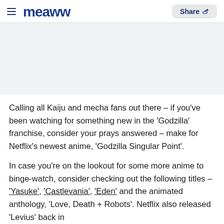meaww — Share
[Figure (other): Light gray rectangular banner area, likely an advertisement placeholder]
Calling all Kaiju and mecha fans out there – if you've been watching for something new in the 'Godzilla' franchise, consider your prays answered – make for Netflix's newest anime, 'Godzilla Singular Point'.
In case you're on the lookout for some more anime to binge-watch, consider checking out the following titles – 'Yasuke', 'Castlevania', 'Eden' and the animated anthology, 'Love, Death + Robots'. Netflix also released 'Levius' back in